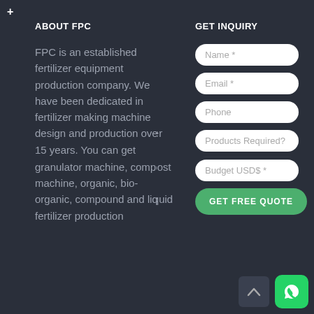ABOUT FPC
FPC is an established fertilizer equipment production company. We have been dedicated in fertilizer making machine design and production over 15 years. You can get granulator machine, compost machine, organic, bio-organic, compound and liquid fertilizer production
GET INQUIRY
[Figure (screenshot): Web inquiry form with fields: Name *, Email *, Phone, Products Required?, Budget USD$ *, and a GET FREE QUOTE button]
[Figure (other): WhatsApp icon and chevron/scroll-to-top button in bottom right corner]